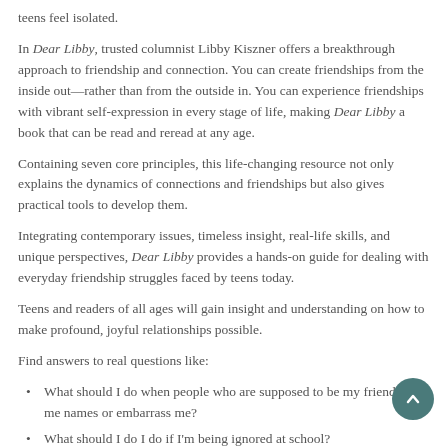teens feel isolated.
In Dear Libby, trusted columnist Libby Kiszner offers a breakthrough approach to friendship and connection. You can create friendships from the inside out—rather than from the outside in. You can experience friendships with vibrant self-expression in every stage of life, making Dear Libby a book that can be read and reread at any age.
Containing seven core principles, this life-changing resource not only explains the dynamics of connections and friendships but also gives practical tools to develop them.
Integrating contemporary issues, timeless insight, real-life skills, and unique perspectives, Dear Libby provides a hands-on guide for dealing with everyday friendship struggles faced by teens today.
Teens and readers of all ages will gain insight and understanding on how to make profound, joyful relationships possible.
Find answers to real questions like:
What should I do when people who are supposed to be my friends call me names or embarrass me?
What should I do I do if I'm being ignored at school?